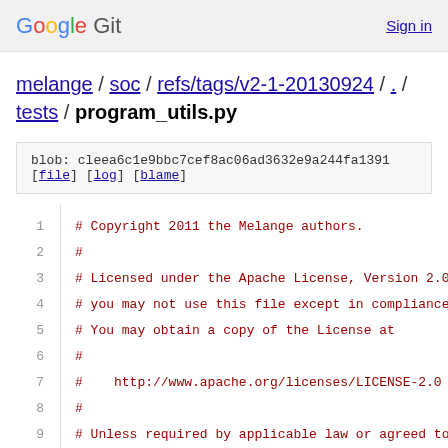Google Git  Sign in
melange / soc / refs/tags/v2-1-20130924 / . / tests / program_utils.py
blob: cleea6c1e9bbc7cef8ac06ad3632e9a244fa1391
[file] [log] [blame]
1  # Copyright 2011 the Melange authors.
2  #
3  # Licensed under the Apache License, Version 2.0
4  # you may not use this file except in compliance
5  # You may obtain a copy of the License at
6  #
7  #    http://www.apache.org/licenses/LICENSE-2.0
8  #
9  # Unless required by applicable law or agreed to
10  # distributed under the License is distributed
11  # WITHOUT WARRANTIES OR CONDITIONS OF ANY KIND,